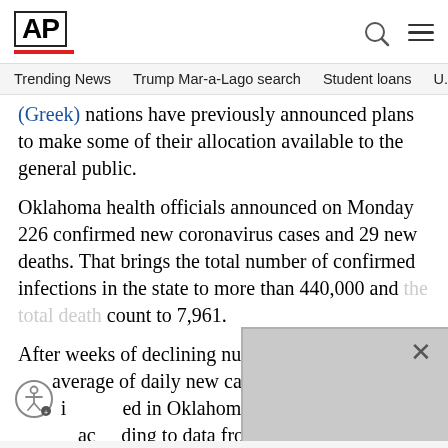AP
Trending News  Trump Mar-a-Lago search  Student loans  U.S
(Greek) nations have previously announced plans to make some of their allocation available to the general public.
Oklahoma health officials announced on Monday 226 confirmed new coronavirus cases and 29 new deaths. That brings the total number of confirmed infections in the state to more than 440,000 and the total death count to 7,961.
After weeks of declining numbers, average of daily new cases and daily i ed in Oklahoma over the pa according to data from Johns Hop